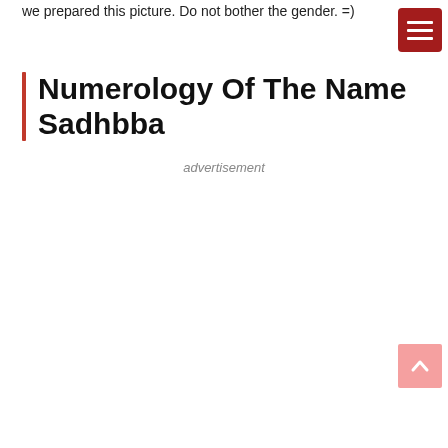we prepared this picture. Do not bother the gender. =)
[Figure (other): Dark red hamburger menu button with three white horizontal lines]
Numerology Of The Name Sadhbba
advertisement
[Figure (other): Pink back-to-top button with upward chevron arrow]